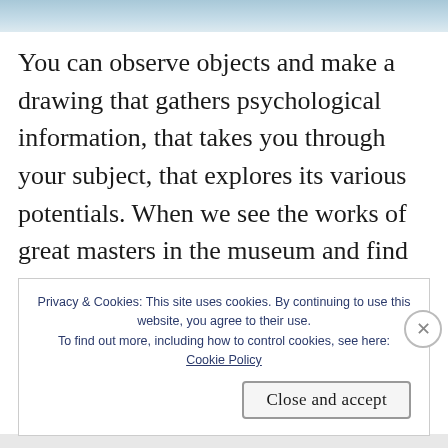[Figure (photo): Blue-toned header image strip at top of page]
You can observe objects and make a drawing that gathers psychological information, that takes you through your subject, that explores its various potentials. When we see the works of great masters in the museum and find their pictures full of an amazing verisimilitude, what we don't see are the drawings, sketches, studies, pochades and whatnot that directed and supported the form the finished p... b...
Privacy & Cookies: This site uses cookies. By continuing to use this website, you agree to their use. To find out more, including how to control cookies, see here: Cookie Policy
Close and accept